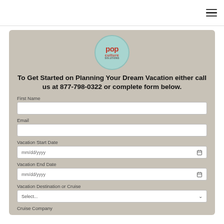[Figure (logo): Pop Culture Solutions circular logo with teal background, red bold 'pop' text and 'culture' text below]
To Get Started on Planning Your Dream Vacation either call us at 877-798-0322 or complete form below.
First Name
Email
Vacation Start Date
Vacation End Date
Vacation Destination or Cruise
Cruise Company